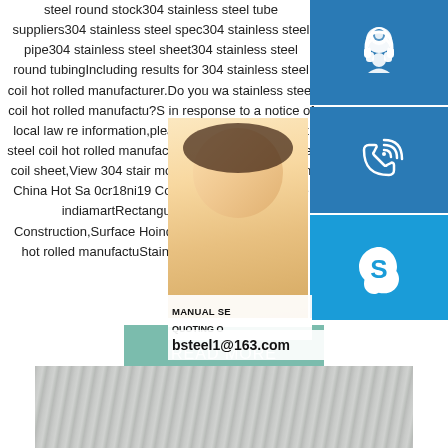steel round stock304 stainless steel tube suppliers304 stainless steel spec304 stainless steel pipe304 stainless steel sheet304 stainless steel round tubingIncluding results for 304 stainless steel coil hot rolled manufacturer.Do you want results only for stainless steel coil hot rolled manufactu?S in response to a notice of local law re information,please see here.12345Next steel coil hot rolled manufactu Watch v stainless steel coil sheet,View 304 stair months agoWatch video on China Hot Sa 0cr18ni19 Cold Rolled Stainless Stee indiamartRectangular 304 Stainles Construction,Surface HoindiamartSee mo steel coil hot rolled manufactuStainless Coils Manufacture
[Figure (photo): Woman with headset, customer service representative]
[Figure (infographic): Blue icon box with headset/customer service icon]
[Figure (infographic): Blue icon box with phone/call icon]
[Figure (infographic): Blue Skype icon box]
MANUAL SE QUOTING O bsteel1@163.com
READ MORE
[Figure (photo): Stainless steel surface texture, brushed metal appearance]